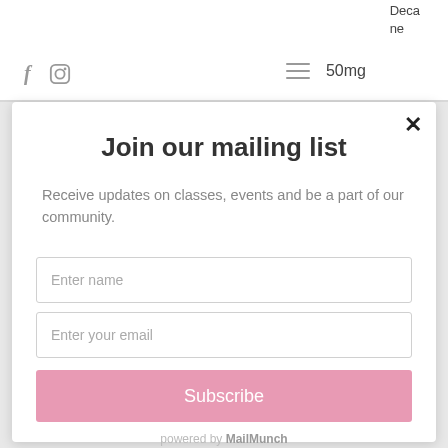Deca
ne
50mg
Join our mailing list
Receive updates on classes, events and be a part of our community.
Enter name
Enter your email
Subscribe
powered by MailMunch